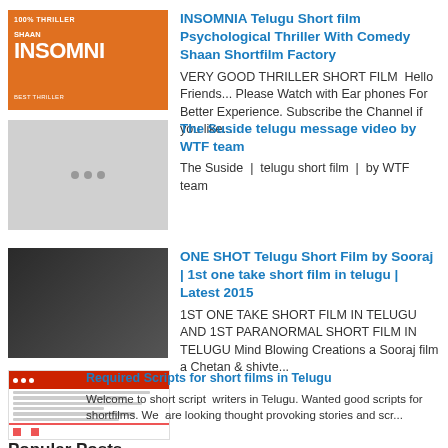[Figure (screenshot): Thumbnail for INSOMNIA Telugu short film - orange background with white text]
INSOMNIA Telugu Short film Psychological Thriller With Comedy Shaan Shortfilm Factory
VERY GOOD THRILLER SHORT FILM  Hello Friends... Please Watch with Ear phones For Better Experience. Subscribe the Channel if you like...
[Figure (screenshot): Grey placeholder thumbnail with three dots]
The Suside telugu message video by WTF team
The Suside  |  telugu short film  |  by WTF team
[Figure (screenshot): Dark thumbnail for ONE SHOT Telugu Short Film]
ONE SHOT Telugu Short Film by Sooraj | 1st one take short film in telugu | Latest 2015
1ST ONE TAKE SHORT FILM IN TELUGU AND 1ST PARANORMAL SHORT FILM IN TELUGU Mind Blowing Creations a Sooraj film a Chetan & shivte...
[Figure (screenshot): Required Scripts thumbnail with red bar and film strip style]
Required Scripts for short films in Telugu
Welcome to short script  writers in Telugu. Wanted good scripts for shortfilms. We  are looking thought provoking stories and scr...
Popular Posts
[Figure (screenshot): Dark thumbnail for True Love End Independent Film Telugu]
True Love End Independent Film Telugu || Directed By Sreedhar Reddy & Ja...